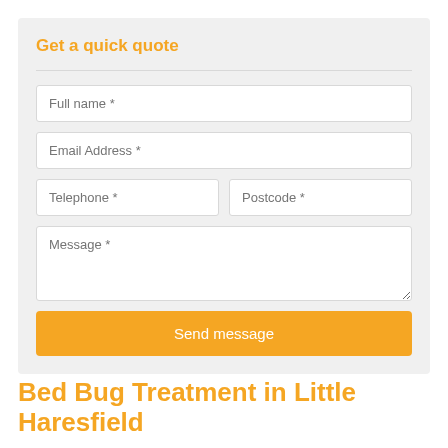Get a quick quote
Full name *
Email Address *
Telephone *
Postcode *
Message *
Send message
Bed Bug Treatment in Little Haresfield